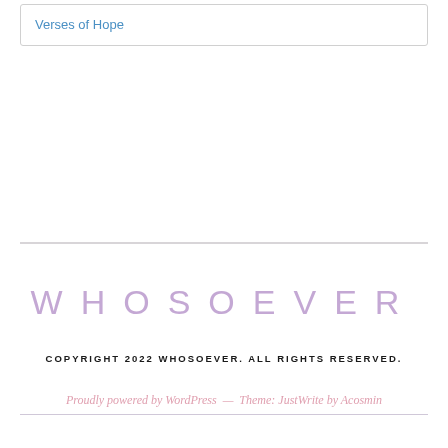Verses of Hope
WHOSOEVER
COPYRIGHT 2022 WHOSOEVER. ALL RIGHTS RESERVED.
Proudly powered by WordPress — Theme: JustWrite by Acosmin